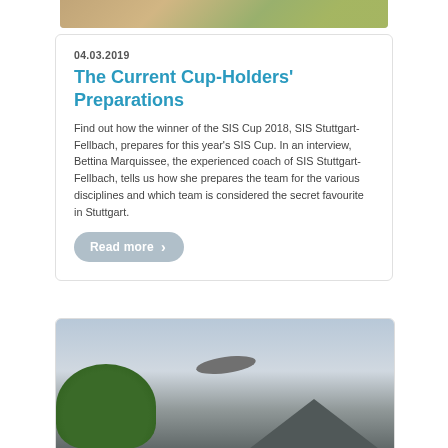[Figure (photo): Top portion of a sports/gym photo partially visible]
04.03.2019
The Current Cup-Holders' Preparations
Find out how the winner of the SIS Cup 2018, SIS Stuttgart-Fellbach, prepares for this year's SIS Cup. In an interview, Bettina Marquissee, the experienced coach of SIS Stuttgart-Fellbach, tells us how she prepares the team for the various disciplines and which team is considered the secret favourite in Stuttgart.
Read more ›
[Figure (photo): Photo of an airship/blimp in the sky above trees and a rooftop]